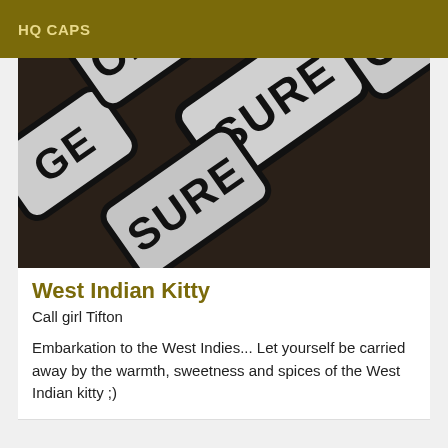HQ CAPS
[Figure (photo): Close-up photo of stenciled caps/signs with text arranged diagonally, black letters on grey rounded-rectangle backgrounds, dark brown background]
West Indian Kitty
Call girl Tifton
Embarkation to the West Indies... Let yourself be carried away by the warmth, sweetness and spices of the West Indian kitty ;)